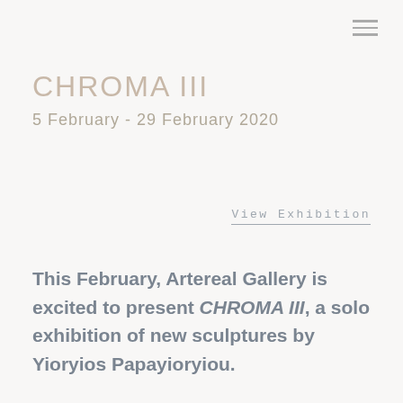[Figure (other): Hamburger menu icon — three horizontal lines in top right corner]
CHROMA III
5 February - 29 February 2020
View Exhibition
This February, Artereal Gallery is excited to present CHROMA III, a solo exhibition of new sculptures by Yioryios Papayioryiou.